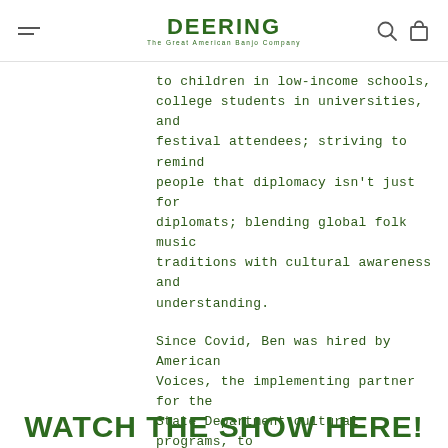DEERING — The Great American Banjo Company
to children in low-income schools, college students in universities, and festival attendees; striving to remind people that diplomacy isn't just for diplomats; blending global folk music traditions with cultural awareness and understanding.
Since Covid, Ben was hired by American Voices, the implementing partner for the State Department cultural programs, to help transition musical diplomacy work into the virtual setting.
WATCH THE SHOW HERE!